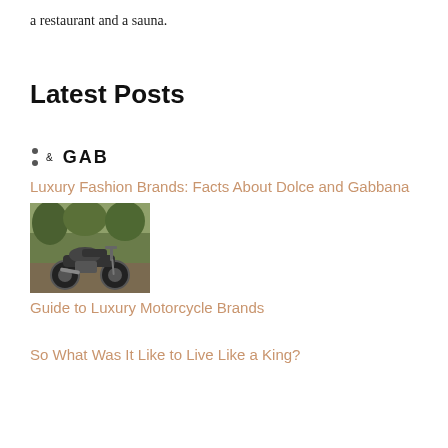a restaurant and a sauna.
Latest Posts
[Figure (logo): Logo with two dots and text '& GAB' in bold caps]
Luxury Fashion Brands: Facts About Dolce and Gabbana
[Figure (photo): Photo of a luxury motorcycle parked outdoors]
Guide to Luxury Motorcycle Brands
So What Was It Like to Live Like a King?